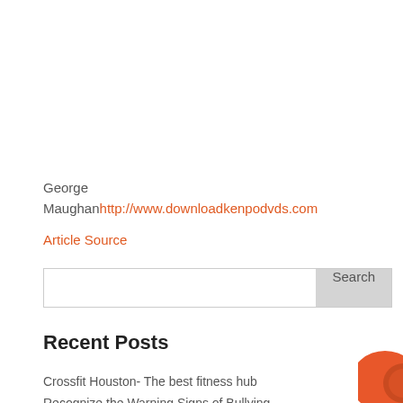George
Maughanhttp://www.downloadkenpodvds.com
Article Source
[Figure (other): Search input box with a grey Search button on the right]
Recent Posts
Crossfit Houston- The best fitness hub
Recognize the Warning Signs of Bullying
[Figure (other): Orange circular toggle/button UI element in bottom right corner]